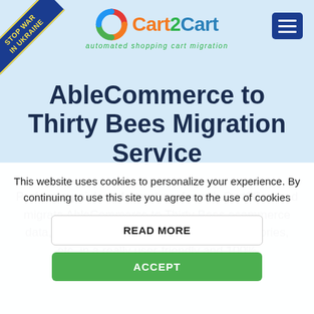[Figure (logo): Cart2Cart logo with colorful swirl icon and text 'Cart2Cart - automated shopping cart migration']
[Figure (illustration): Stop War In Ukraine diagonal ribbon banner in top-left corner]
AbleCommerce to Thirty Bees Migration Service
Perform a painless 4-step transfer with Cart2Cart and migrate AbleCommerce to Thirty Bees ecommerce data, like products, customers, orders, categories, etc. in a really user-friendly and 100%
This website uses cookies to personalize your experience. By continuing to use this site you agree to the use of cookies
READ MORE
ACCEPT